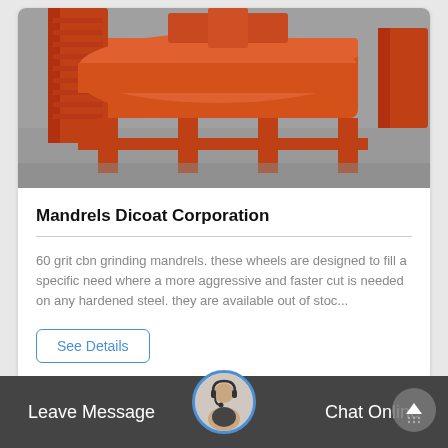[Figure (photo): Orange industrial grinding/milling machine equipment in a factory/warehouse setting]
Mandrels Dicoat Corporation
60 grit cbn grinding mandrels. these wheels are designed to fill a specific need where a more aggressive and faster cut is needed on any hardened steel. they are available out of stoc...
See Details
Leave Message   Chat Online